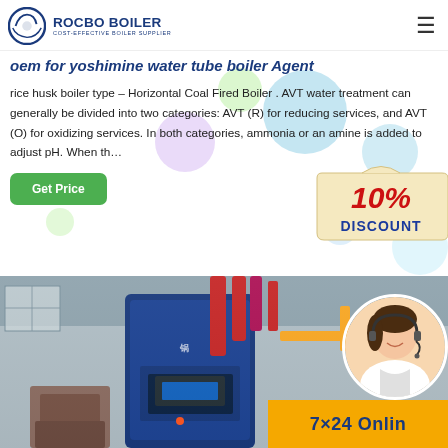[Figure (logo): Rocbo Boiler logo with circular icon and text 'ROCBO BOILER - COST-EFFECTIVE BOILER SUPPLIER']
oem for yoshimine water tube boiler Agent
rice husk boiler type – Horizontal Coal Fired Boiler . AVT water treatment can generally be divided into two categories: AVT (R) for reducing services, and AVT (O) for oxidizing services. In both categories, ammonia or an amine is added to adjust pH. When th…
[Figure (illustration): 10% DISCOUNT promotional graphic with red and blue text on cream/beige background]
[Figure (photo): Industrial boiler equipment photo showing large blue vertical boiler unit with pipes and industrial setting]
[Figure (photo): Customer service representative woman with headset in circular frame]